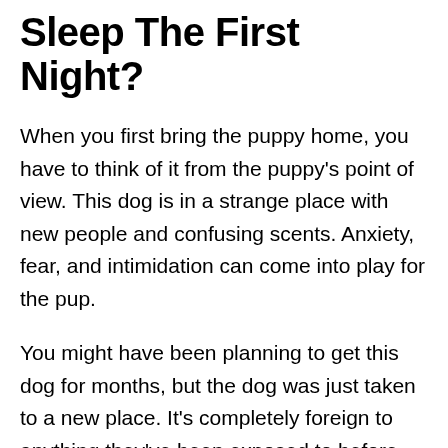Sleep The First Night?
When you first bring the puppy home, you have to think of it from the puppy's point of view. This dog is in a strange place with new people and confusing scents. Anxiety, fear, and intimidation can come into play for the pup.
You might have been planning to get this dog for months, but the dog was just taken to a new place. It's completely foreign to anything they've been exposed to before. They don't have their familiar siblings and parents